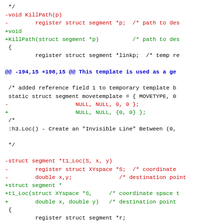diff/patch code fragment showing changes to KillPath and t1_Loc functions
@@ -194,15 +198,15 @@ This template is used as a ge
@@ -222,9 +226,9 @@ struct segment *t1_Loc(S, x, y)
 :h3.ILoc() - Loc() With Integer Arguments